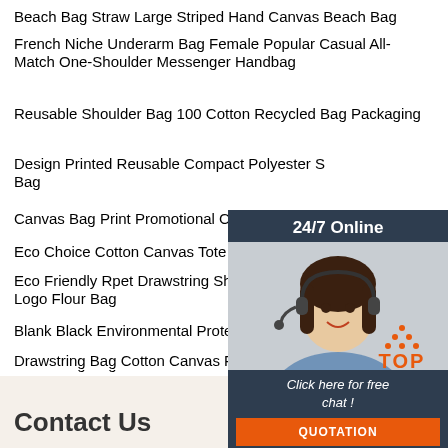Beach Bag Straw Large Striped Hand Canvas Beach Bag
French Niche Underarm Bag Female Popular Casual All-Match One-Shoulder Messenger Handbag
Reusable Shoulder Bag 100 Cotton Recycled Bag Packaging
Design Printed Reusable Compact Polyester Shopping Bag
Canvas Bag Print Promotional Cotton Canvas
Eco Choice Cotton Canvas Tote Bag
Eco Friendly Rpet Drawstring Shoe Packaging Logo Flour Bag
Blank Black Environmental Protection Logo Recycled Bag
Drawstring Bag Cotton Canvas Fabric Shopping
Customize Logo Private Label Handbag Vintage Handbags Ladies
Factory Low Price Promotional Organic Durable Shopping Cotton Tote Bag
Hand Bag Lady Handbag Sail Bag Shoulder Girl Canvas Bag Harajuku Shopping Equipment
[Figure (infographic): 24/7 Online chat widget showing a customer service representative with headset, with 'Click here for free chat!' text and an orange QUOTATION button]
[Figure (infographic): Orange TOP button with dotted triangle arrow pointing upward]
Contact Us